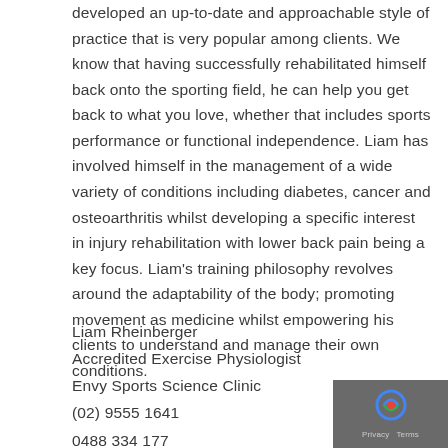developed an up-to-date and approachable style of practice that is very popular among clients. We know that having successfully rehabilitated himself back onto the sporting field, he can help you get back to what you love, whether that includes sports performance or functional independence. Liam has involved himself in the management of a wide variety of conditions including diabetes, cancer and osteoarthritis whilst developing a specific interest in injury rehabilitation with lower back pain being a key focus. Liam's training philosophy revolves around the adaptability of the body; promoting movement as medicine whilst empowering his clients to understand and manage their own conditions.
Liam Rheinberger
Accredited Exercise Physiologist
Envy Sports Science Clinic
(02) 9555 1641
0488 334 177